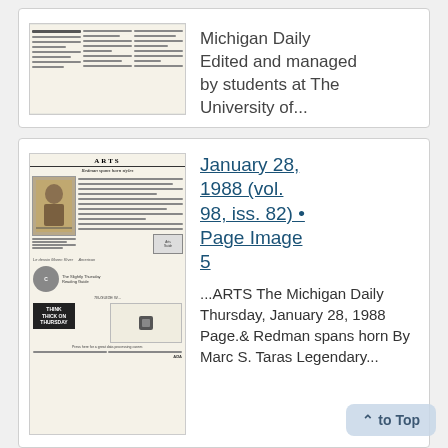[Figure (photo): Thumbnail image of a newspaper page (Michigan Daily) - partially visible, top card]
Michigan Daily Edited and managed by students at The University of...
[Figure (photo): Thumbnail image of Michigan Daily newspaper Arts page dated January 28, 1988. Headlines visible: ARTS, Redman spans horn styles, Think Thick On Thursday. Bottom includes an advertisement.]
January 28, 1988 (vol. 98, iss. 82) • Page Image 5
...ARTS The Michigan Daily Thursday, January 28, 1988 Page.& Redman spans horn By Marc S. Taras Legendary...